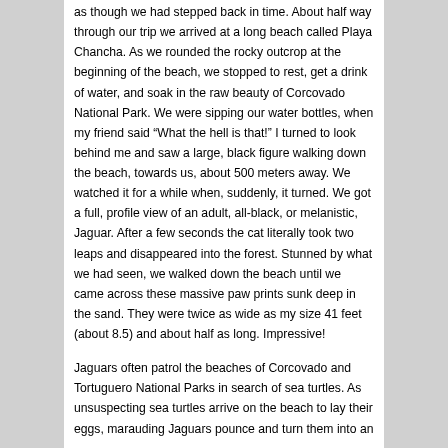as though we had stepped back in time.  About half way through our trip we arrived at a long beach called Playa Chancha.  As we rounded the rocky outcrop at the beginning of the beach, we stopped to rest, get a drink of water, and soak in the raw beauty of Corcovado National Park.  We were sipping our water bottles, when my friend said “What the hell is that!”  I turned to look behind me and saw a large, black figure walking down the beach, towards us, about 500 meters away.  We watched it for a while when, suddenly, it turned.  We got a full, profile view of an adult, all-black, or melanistic, Jaguar.  After a few seconds the cat literally took two leaps and disappeared into the forest.  Stunned by what we had seen, we walked down the beach until we came across these massive paw prints sunk deep in the sand. They were twice as wide as my size 41 feet (about 8.5) and about half as long.  Impressive!
Jaguars often patrol the beaches of Corcovado and Tortuguero National Parks in search of sea turtles.  As unsuspecting sea turtles arrive on the beach to lay their eggs, marauding Jaguars pounce and turn them into an